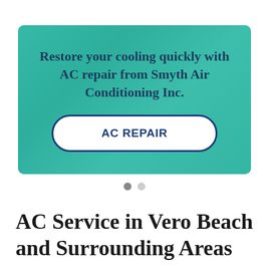[Figure (screenshot): Banner image with teal/green background showing AC unit equipment. Text overlay reads 'Restore your cooling quickly with AC repair from Smyth Air Conditioning Inc.' with a white button labeled 'AC REPAIR'.]
AC Service in Vero Beach and Surrounding Areas